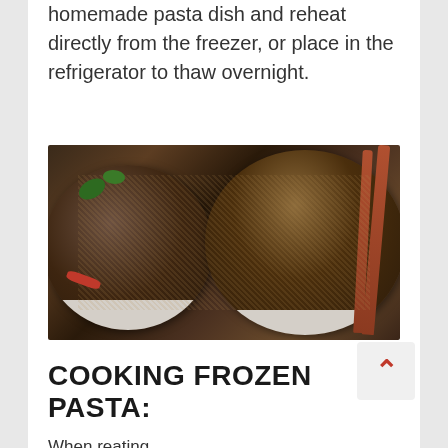homemade pasta dish and reheat directly from the freezer, or place in the refrigerator to thaw overnight.
[Figure (photo): Two white bowls of soba noodle soup with vegetables (broccoli, red peppers, herbs) in a dark broth, served with red chopsticks resting on the right bowl, on a light marble surface.]
COOKING FROZEN PASTA:
When reating...